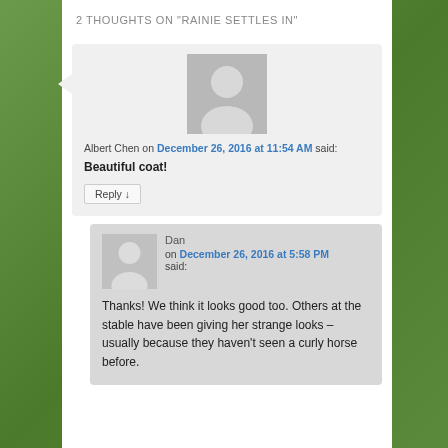2 THOUGHTS ON "RAINIE SETTLES IN"
Albert Chen on December 26, 2016 at 11:54 AM said:
Beautiful coat!
Reply ↓
Dan on December 26, 2016 at 5:58 PM said:
Thanks! We think it looks good too. Others at the stable have been giving her strange looks – usually because they haven't seen a curly horse before.